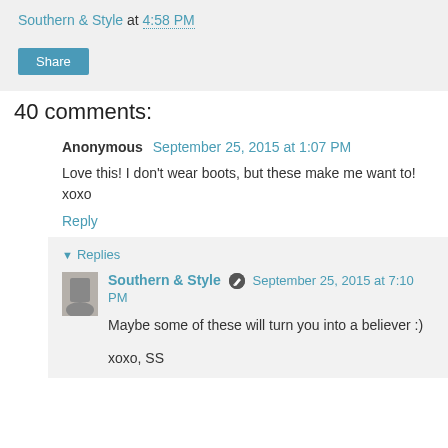Southern & Style at 4:58 PM
Share
40 comments:
Anonymous September 25, 2015 at 1:07 PM
Love this! I don't wear boots, but these make me want to! xoxo
Reply
Replies
Southern & Style September 25, 2015 at 7:10 PM
Maybe some of these will turn you into a believer :)
xoxo, SS